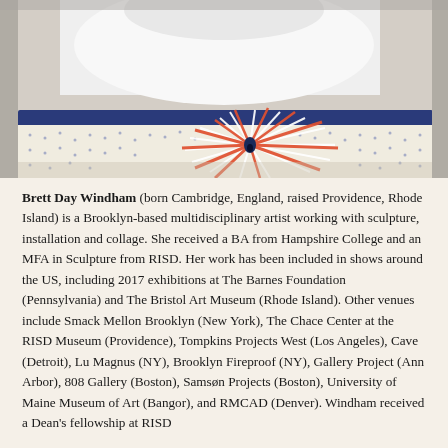[Figure (photo): A person in a white shirt leaning over a colorful textile or artwork featuring an orange and red starburst pattern on a blue and white dotted background.]
Brett Day Windham (born Cambridge, England, raised Providence, Rhode Island) is a Brooklyn-based multidisciplinary artist working with sculpture, installation and collage. She received a BA from Hampshire College and an MFA in Sculpture from RISD. Her work has been included in shows around the US, including 2017 exhibitions at The Barnes Foundation (Pennsylvania) and The Bristol Art Museum (Rhode Island). Other venues include Smack Mellon Brooklyn (New York), The Chace Center at the RISD Museum (Providence), Tompkins Projects West (Los Angeles), Cave (Detroit), Lu Magnus (NY), Brooklyn Fireproof (NY), Gallery Project (Ann Arbor), 808 Gallery (Boston), Samsøn Projects (Boston), University of Maine Museum of Art (Bangor), and RMCAD (Denver). Windham received a Dean's fellowship at RISD